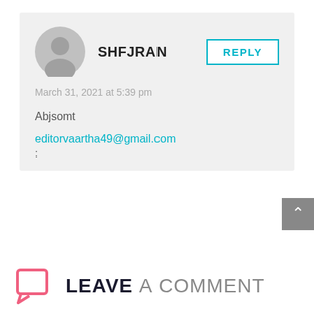SHFJRAN
REPLY
March 31, 2021 at 5:39 pm
Abjsomt
editorvaartha49@gmail.com
:
LEAVE A COMMENT